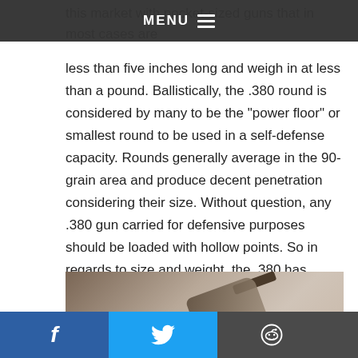MENU
less than five inches long and weigh in at less than a pound. Ballistically, the .380 round is considered by many to be the “power floor” or smallest round to be used in a self-defense capacity. Rounds generally average in the 90-grain area and produce decent penetration considering their size. Without question, any .380 gun carried for defensive purposes should be loaded with hollow points. So in regards to size and weight, the .380 has some solid benefits.
[Figure (photo): Photo of a handgun, appears to be a .380 pistol, partially visible with a holster or dark background, brownish and metallic tones.]
f  (Twitter bird)  (Reddit alien)  (Envelope)